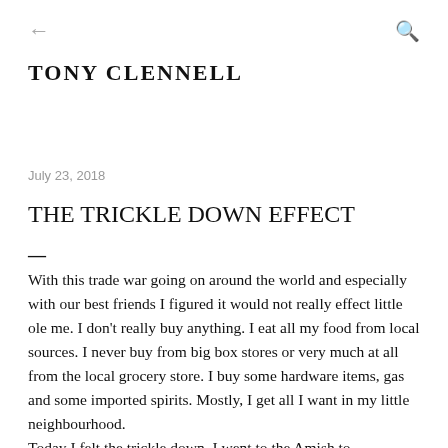← (back arrow)  Q (search icon)
TONY CLENNELL
July 23, 2018
THE TRICKLE DOWN EFFECT
—
With this trade war going on around the world and especially with our best friends I figured it would not really effect little ole me. I don't really buy anything. I eat all my food from local sources. I never buy from big box stores or very much at all from the local grocery store. I buy some hardware items, gas and some imported spirits. Mostly, I get all I want in my little neighbourhood.
Today I felt the trickle down. I went to the Amish to